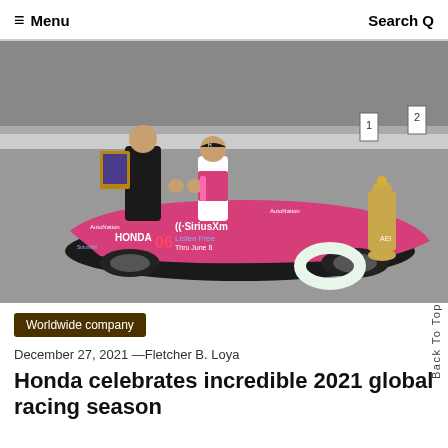≡ Menu   Search Q
[Figure (photo): Two people posing with an IndyCar race car on a racing track. The car is pink/magenta with SiriusXM and AutoNation sponsorships. One person holds a framed award, the other is a racing driver in white and pink suit. A Borg-Warner trophy and a floral wreath are visible beside the car.]
Worldwide company
December 27, 2021 —Fletcher B. Loya
Honda celebrates incredible 2021 global racing season